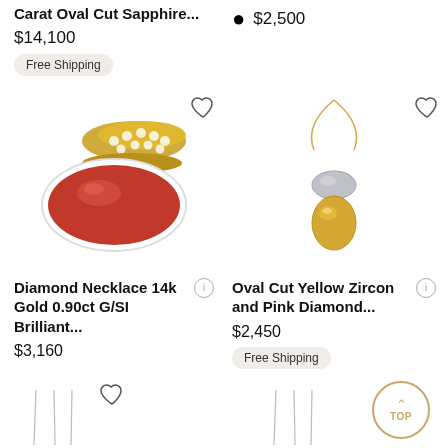Carat Oval Cut Sapphire...
$14,100
Free Shipping
$2,500
[Figure (photo): Gold and diamond brooch with red coral oval cabochon stone]
[Figure (photo): Gold necklace pendant with oval cut yellow zircon and pink diamond stones]
Diamond Necklace 14k Gold 0.90ct G/SI Brilliant...
$3,160
Oval Cut Yellow Zircon and Pink Diamond...
$2,450
Free Shipping